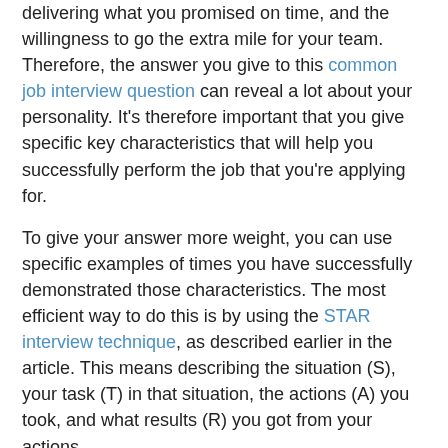delivering what you promised on time, and the willingness to go the extra mile for your team. Therefore, the answer you give to this common job interview question can reveal a lot about your personality. It's therefore important that you give specific key characteristics that will help you successfully perform the job that you're applying for.
To give your answer more weight, you can use specific examples of times you have successfully demonstrated those characteristics. The most efficient way to do this is by using the STAR interview technique, as described earlier in the article. This means describing the situation (S), your task (T) in that situation, the actions (A) you took, and what results (R) you got from your actions.
A sample answer to the interview question 'describe your work ethic':
Below an example answer to describe your work ethic is